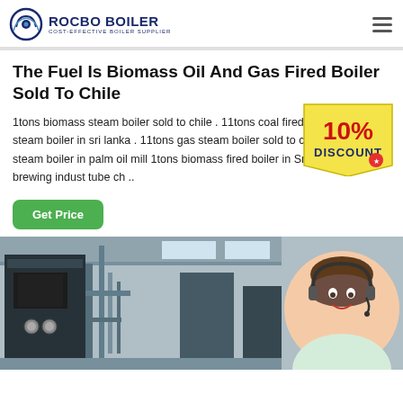ROCBO BOILER — COST-EFFECTIVE BOILER SUPPLIER
The Fuel Is Biomass Oil And Gas Fired Boiler Sold To Chile
1tons biomass steam boiler sold to chile . 11tons coal fired chain grate steam boiler in sri lanka . 11tons gas steam boiler sold to chile; 9622 11tons steam boiler in palm oil mill 1tons biomass fired boiler in Sri Lanka for craft brewing indust tube ch ...
[Figure (illustration): 10% DISCOUNT promotional badge/sticker in red and blue colors]
[Figure (photo): Industrial boiler equipment in a factory/plant setting, with pipes and machinery visible]
[Figure (photo): Customer service representative woman wearing a headset, smiling, in a circular crop overlay on the right side]